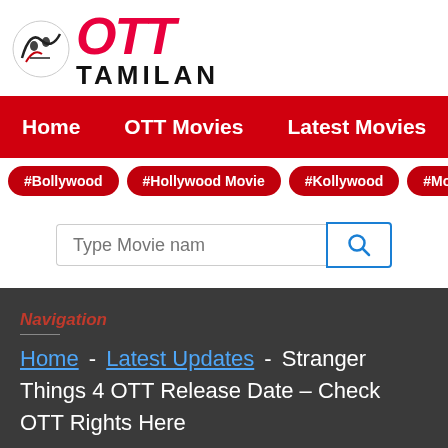[Figure (logo): OTT Tamilan website logo with stylized icon, red italic OTT text and bold TAMILAN text]
Home   OTT Movies   Latest Movies   Movie Lang
#Bollywood
#Hollywood Movie
#Kollywood
#Mollywood
#Tollywood
Type Movie nam [search button]
Navigation
Home - Latest Updates - Stranger Things 4 OTT Release Date – Check OTT Rights Here